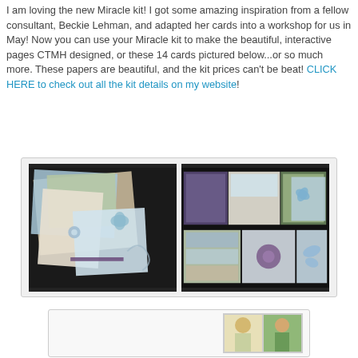I am loving the new Miracle kit! I got some amazing inspiration from a fellow consultant, Beckie Lehman, and adapted her cards into a workshop for us in May! Now you can use your Miracle kit to make the beautiful, interactive pages CTMH designed, or these 14 cards pictured below...or so much more. These papers are beautiful, and the kit prices can't be beat! CLICK HERE to check out all the kit details on my website!
[Figure (photo): Two side-by-side photos of handmade greeting cards made with the Miracle kit, featuring blue and green floral/butterfly designs on kraft/cream cardstock]
[Figure (photo): Partially visible bottom photo showing two children]